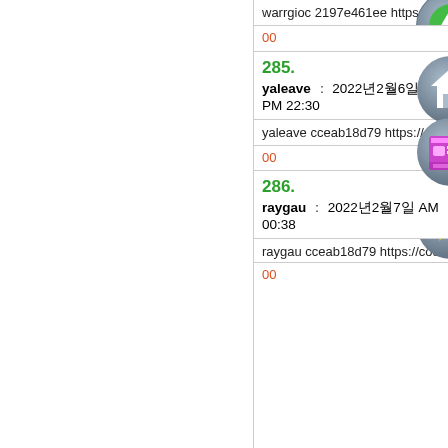warrgioc 2197e461ee https://wake...
00
285.
yaleave : 2022년2월6일 PM 22:30
yaleave cceab18d79 https://coub.co...
00
286.
raygau : 2022년2월7일 AM 00:38
raygau cceab18d79 https://coub.co...
00